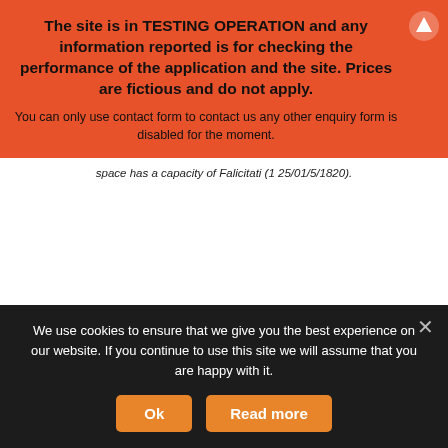The site is in TESTING OPERATION and any information reported is for checking the performance of the application and the site. Prices are fictious and do not apply.
You can only use contact form to contact us any other enquiry form is disabled for the moment.
space has a capacity of Falicitati (1 25/01/5/1820).
MOST POPULAR DESTINATIONS
We use cookies to ensure that we give you the best experience on our website. If you continue to use this site we will assume that you are happy with it.